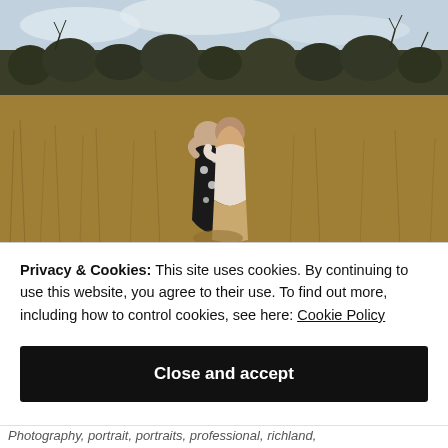[Figure (photo): A couple embracing in an open field of dry golden grass with bare trees and a cloudy sky in the background. The woman wears a black floral dress and the man wears a light sweater and tan pants.]
Privacy & Cookies: This site uses cookies. By continuing to use this website, you agree to their use. To find out more, including how to control cookies, see here: Cookie Policy
Close and accept
Photography, portrait, portraits, professional, richland,